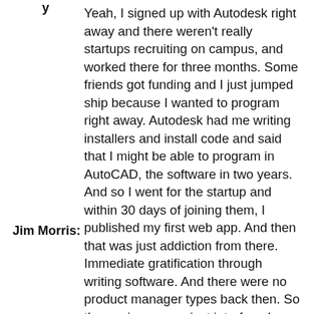Yeah, I signed up with Autodesk right away and there weren't really startups recruiting on campus, and worked there for three months. Some friends got funding and I just jumped ship because I wanted to program right away. Autodesk had me writing installers and install code and said that I might be able to program in AutoCAD, the software in two years. And so I went for the startup and within 30 days of joining them, I published my first web app. And then that was just addiction from there. Immediate gratification through writing software. And there were no product manager types back then. So the engineers, we just interfaced directly with clients and directly with... We were like a little bit of
Jim Morris: